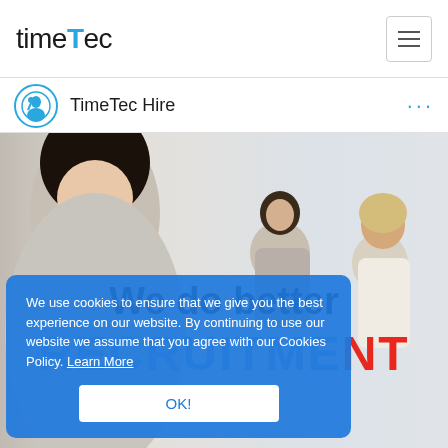timeTec
TimeTec Hire
[Figure (photo): Hero image with businesspeople in an office setting, smiling woman in foreground]
We do better
RECRUITMENT
We use cookies to ensure that we give you the best experience on our website. By continuing to use our website we assume that you agree with our Cookies Policy. Learn More
OK!